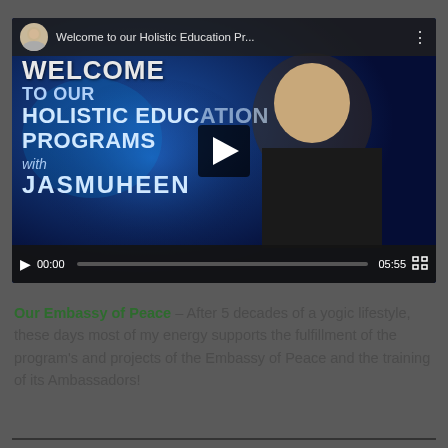[Figure (screenshot): A YouTube-style video player showing a welcome screen for 'Welcome to our Holistic Education Pr...' with a woman presenter (Jasmuheen), blue cosmic background, overlaid text reading WELCOME TO OUR HOLISTIC EDUCATION PROGRAMS with JASMUHEEN, play button in center, video controls showing 00:00 / 05:55]
Our Embassy of Peace – After 5 decades of a yogic lifestyle, these days most of my energy supports the fulfillment of the program's and projects of the Embassy of Peace and the training of its Ambassadors!